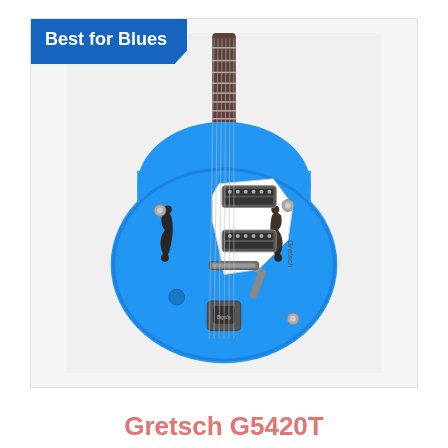[Figure (photo): Blue Gretsch G5420T semi-hollow body electric guitar with white pickguard, f-holes, two humbucking pickups, Bigsby-style tailpiece, and chrome hardware, shown against a light grey background. A blue 'Best for Blues' badge appears in the top left corner.]
Gretsch G5420T